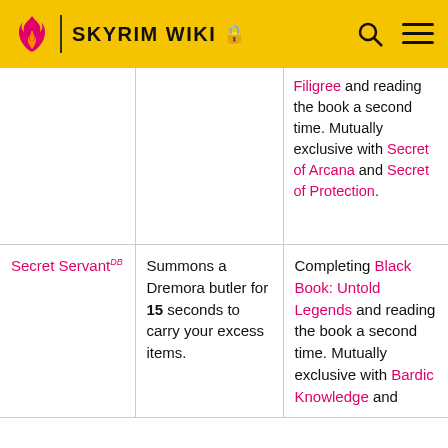SKYRIM WIKI
| Name | Effect | Source |
| --- | --- | --- |
|  |  | Filigree and reading the book a second time. Mutually exclusive with Secret of Arcana and Secret of Protection. |
| Secret Servant DB | Summons a Dremora butler for 15 seconds to carry your excess items. | Completing Black Book: Untold Legends and reading the book a second time. Mutually exclusive with Bardic Knowledge and |